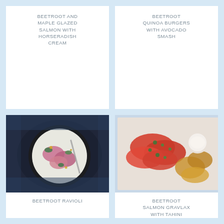BEETROOT AND MAPLE GLAZED SALMON WITH HORSERADISH CREAM
BEETROOT QUINOA BURGERS WITH AVOCADO SMASH
[Figure (photo): Overhead view of beetroot ravioli on a dark plate with fork, garnished with green herbs and yellow crumble]
BEETROOT RAVIOLI
[Figure (photo): Overhead view of beetroot salmon gravlax arranged on white paper with herbs and a small bowl of cream sauce, with toasted flatbreads]
BEETROOT SALMON GRAVLAX WITH TAHINI FLATBREAD